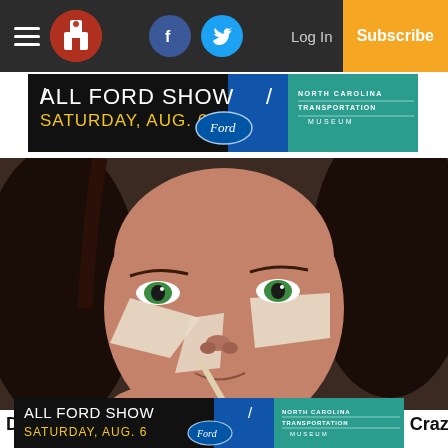Nav bar with hamburger menu, logo, Facebook icon, Twitter icon, Log In, Subscribe
[Figure (other): Advertisement banner for All Ford Show, Saturday Aug. 6, North Carolina Transportation Museum]
[Figure (photo): Close-up photo of a woman with green eyes applying concealer or cream under her eyes with a brush]
Doctors Stunned: This Removes Wrinkles Like Crazy (Try
[Figure (other): Advertisement banner for All Ford Show, Saturday Aug. 6, North Carolina Transportation Museum]